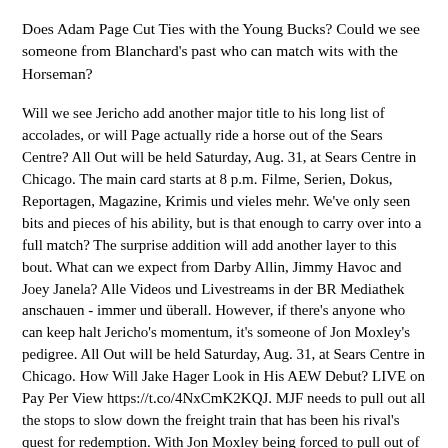Does Adam Page Cut Ties with the Young Bucks? Could we see someone from Blanchard's past who can match wits with the Horseman?
Will we see Jericho add another major title to his long list of accolades, or will Page actually ride a horse out of the Sears Centre? All Out will be held Saturday, Aug. 31, at Sears Centre in Chicago. The main card starts at 8 p.m. Filme, Serien, Dokus, Reportagen, Magazine, Krimis und vieles mehr. We've only seen bits and pieces of his ability, but is that enough to carry over into a full match? The surprise addition will add another layer to this bout. What can we expect from Darby Allin, Jimmy Havoc and Joey Janela? Alle Videos und Livestreams in der BR Mediathek anschauen - immer und überall. However, if there's anyone who can keep halt Jericho's momentum, it's someone of Jon Moxley's pedigree. All Out will be held Saturday, Aug. 31, at Sears Centre in Chicago. How Will Jake Hager Look in His AEW Debut? LIVE on Pay Per View https://t.co/4NxCmK2KQJ. MJF needs to pull out all the stops to slow down the freight train that has been his rival's quest for redemption. With Jon Moxley being forced to pull out of his match against Omega due to a staph infection, Pac (formerly known as Neville in WWE), got the call as a replacement. the long-awaited bout between Cody Rhodes and MJF and a meeting for the tag team championships between four Elite members, among other intriguing contests. With Jon Moxley being forced to